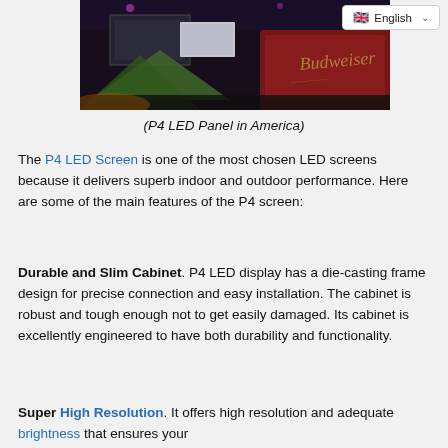[Figure (photo): Dark indoor event venue photo showing LED screens and a Budweiser branded display/truck in the background with tents visible]
(P4 LED Panel in America)
The P4 LED Screen is one of the most chosen LED screens because it delivers superb indoor and outdoor performance. Here are some of the main features of the P4 screen:
Durable and Slim Cabinet. P4 LED display has a die-casting frame design for precise connection and easy installation. The cabinet is robust and tough enough not to get easily damaged. Its cabinet is excellently engineered to have both durability and functionality.
Super High Resolution. It offers high resolution and adequate brightness that ensures your